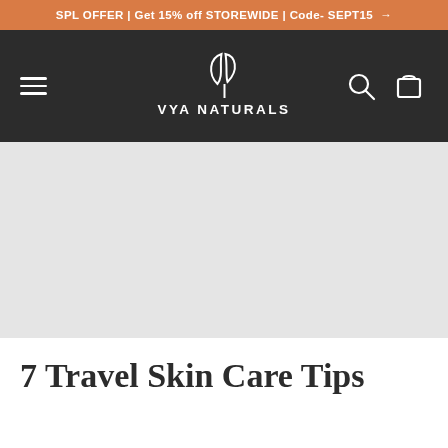SPL OFFER | Get 15% off STOREWIDE | Code- SEPT15 →
[Figure (logo): VYA NATURALS logo with leaf icon in white on dark background, with hamburger menu, search icon, and cart icon]
[Figure (photo): Light gray hero image placeholder area]
7 Travel Skin Care Tips